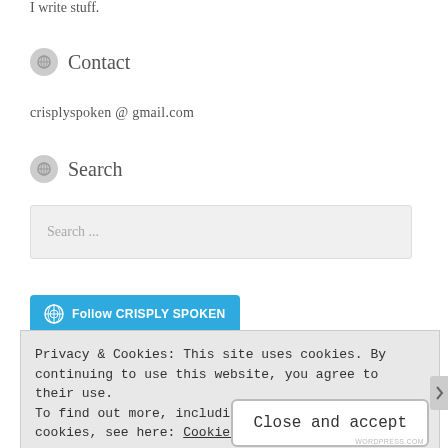I write stuff.
Contact
crisplyspoken @ gmail.com
Search
Search ...
[Figure (other): Follow CRISPLY SPOKEN button with WordPress icon, teal/blue background]
Privacy & Cookies: This site uses cookies. By continuing to use this website, you agree to their use.
To find out more, including how to control cookies, see here: Cookie Policy
Close and accept